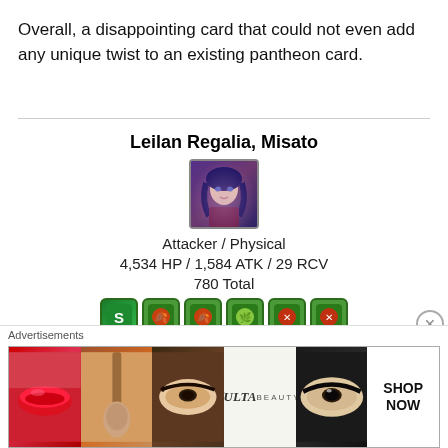Overall, a disappointing card that could not even add any unique twist to an existing pantheon card.
Leilan Regalia, Misato
[Figure (illustration): Game card portrait of Leilan Regalia Misato character with blue/purple hair]
Attacker / Physical
4,534 HP / 1,584 ATK / 29 RCV
780 Total
[Figure (infographic): Row of 6 colored orb/skill icons on green backgrounds]
Active Skill:
All → [fire orb] [wood orb] [light orb]
2 turn haste
[Figure (photo): ULTA Beauty advertisement banner showing makeup and cosmetic imagery with SHOP NOW text]